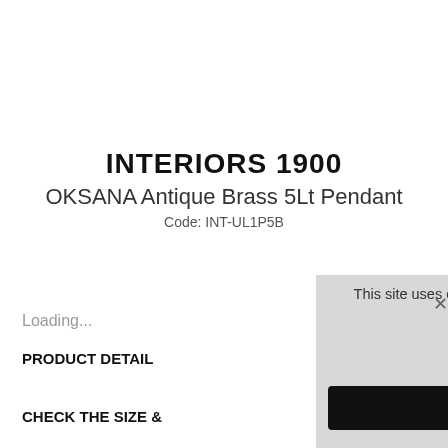INTERIORS 1900
OKSANA Antique Brass 5Lt Pendant
Code: INT-UL1P5B
Loading...
PRODUCT DETAILS
CHECK THE SIZE &
This site uses cookies to provide and improve your shopping experience. If you want to benefit from this improved service, please opt-in. Cookies Page.
I opt-in to a better browsing experience
ACCEPT COOKIES